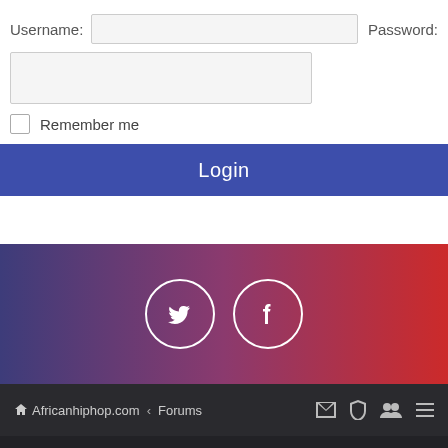Username:
Password:
Remember me
Login
[Figure (screenshot): Social media footer banner with Twitter and Facebook icons on a purple-to-red gradient background]
🏠 Africanhiphop.com ‹ Forums
Powered by phpBB™